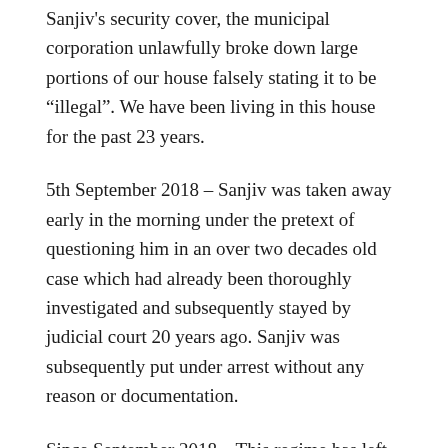Sanjiv's security cover, the municipal corporation unlawfully broke down large portions of our house falsely stating it to be “illegal”. We have been living in this house for the past 23 years.
5th September 2018 – Sanjiv was taken away early in the morning under the pretext of questioning him in an over two decades old case which had already been thoroughly investigated and subsequently stayed by judicial court 20 years ago. Sanjiv was subsequently put under arrest without any reason or documentation.
Since September 2018 – This regime has left no stone unturned in applying delaying tactics and subverting due process of law. Not only was Sanjiv denied bail on frivolous grounds, but in a blatant miscarriage of justice, he was denied a fair trial and was